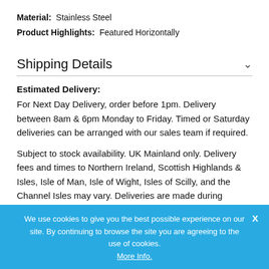Material: Stainless Steel
Product Highlights: Featured Horizontally
Shipping Details
Estimated Delivery:
For Next Day Delivery, order before 1pm. Delivery between 8am & 6pm Monday to Friday. Timed or Saturday deliveries can be arranged with our sales team if required.
Subject to stock availability. UK Mainland only. Delivery fees and times to Northern Ireland, Scottish Highlands & Isles, Isle of Man, Isle of Wight, Isles of Scilly, and the Channel Isles may vary. Deliveries are made during working days only.
Returns
Any returns to us must be made within 30 days of
We use cookies to give you the best possible experience on our site. By continuing to browse the site you are agreeing to the use of cookies. More Info.